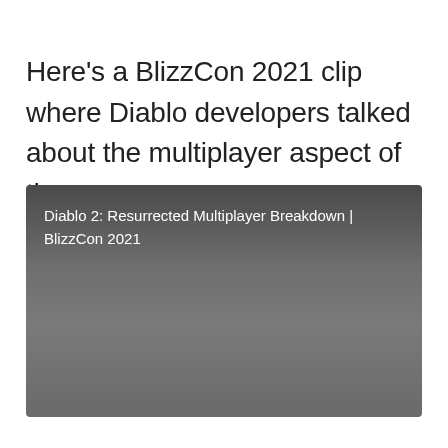Here's a BlizzCon 2021 clip where Diablo developers talked about the multiplayer aspect of the game:
[Figure (screenshot): A video thumbnail placeholder with dark gray gradient background showing the text 'Diablo 2: Resurrected Multiplayer Breakdown | BlizzCon 2021']